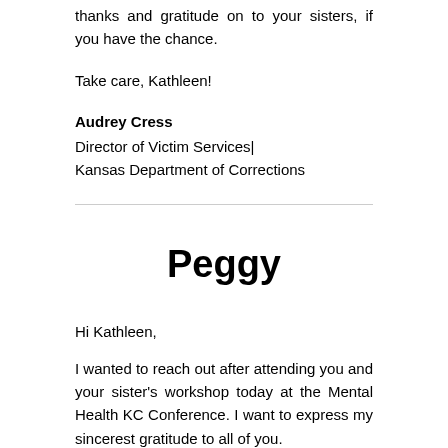thanks and gratitude on to your sisters, if you have the chance.
Take care, Kathleen!
Audrey Cress
Director of Victim Services|
Kansas Department of Corrections
Peggy
Hi Kathleen,
I wanted to reach out after attending you and your sister's workshop today at the Mental Health KC Conference. I want to express my sincerest gratitude to all of you.